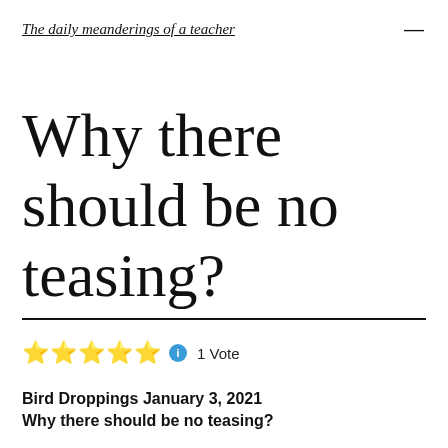The daily meanderings of a teacher
Why there should be no teasing?
★★★★★ ℹ 1 Vote
Bird Droppings January 3, 2021
Why there should be no teasing?